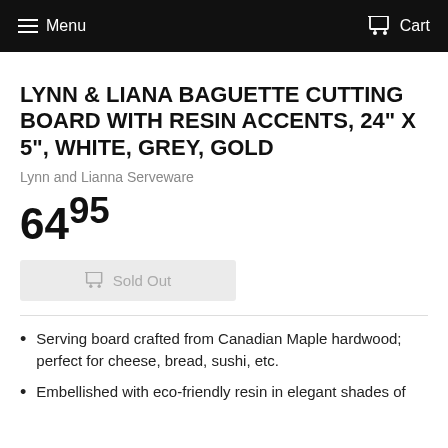Menu  Cart
LYNN & LIANA BAGUETTE CUTTING BOARD WITH RESIN ACCENTS, 24" X 5", WHITE, GREY, GOLD
Lynn and Lianna Serveware
64.95
Sold Out
Serving board crafted from Canadian Maple hardwood; perfect for cheese, bread, sushi, etc.
Embellished with eco-friendly resin in elegant shades of